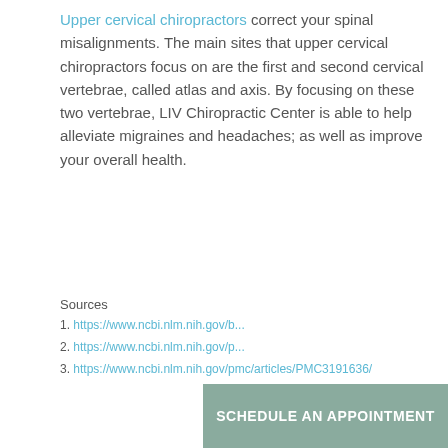Upper cervical chiropractors correct your spinal misalignments. The main sites that upper cervical chiropractors focus on are the first and second cervical vertebrae, called atlas and axis. By focusing on these two vertebrae, LIV Chiropractic Center is able to help alleviate migraines and headaches; as well as improve your overall health.
Sources
1. https://www.ncbi.nlm.nih.gov/b...
2. https://www.ncbi.nlm.nih.gov/p...
3. https://www.ncbi.nlm.nih.gov/pmc/articles/PMC3191636/